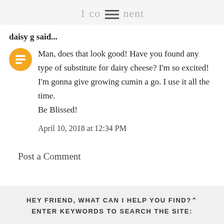1 comment
daisy g said...
Man, does that look good! Have you found any type of substitute for dairy cheese? I'm so excited! I'm gonna give growing cumin a go. I use it all the time.
Be Blissed!
April 10, 2018 at 12:34 PM
Post a Comment
HEY FRIEND, WHAT CAN I HELP YOU FIND?
ENTER KEYWORDS TO SEARCH THE SITE: